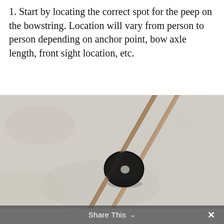1. Start by locating the correct spot for the peep on the bowstring. Location will vary from person to person depending on anchor point, bow axle length, front sight location, etc.
[Figure (photo): Close-up photograph of a bowstring peep sight (small black rubber ring/device) installed on a compound bow string, against a light grey/white textured background. The bowstring runs diagonally from upper right to lower left, with the peep sight visible near the middle-bottom of the frame.]
Share This ∨  ×